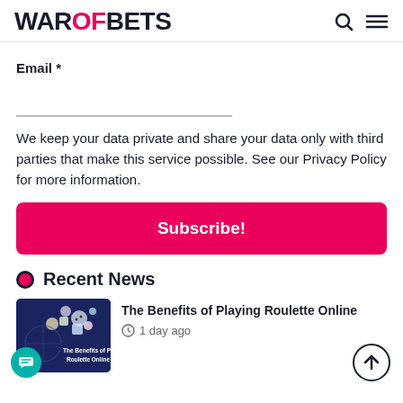WAROFBETS
Email *
We keep your data private and share your data only with third parties that make this service possible. See our Privacy Policy for more information.
Subscribe!
Recent News
The Benefits of Playing Roulette Online
1 day ago